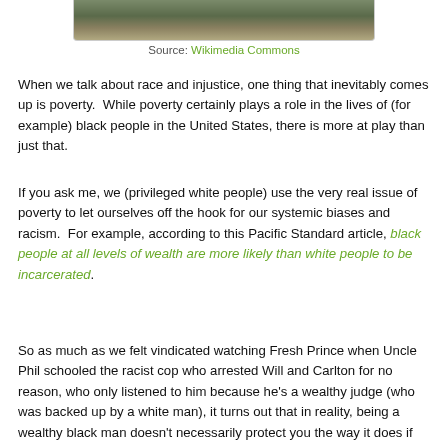[Figure (photo): Partial photo visible at top of page, appearing to show an outdoor or nature scene with muted green and brown tones]
Source: Wikimedia Commons
When we talk about race and injustice, one thing that inevitably comes up is poverty.  While poverty certainly plays a role in the lives of (for example) black people in the United States, there is more at play than just that.
If you ask me, we (privileged white people) use the very real issue of poverty to let ourselves off the hook for our systemic biases and racism.  For example, according to this Pacific Standard article, black people at all levels of wealth are more likely than white people to be incarcerated.
So as much as we felt vindicated watching Fresh Prince when Uncle Phil schooled the racist cop who arrested Will and Carlton for no reason, who only listened to him because he's a wealthy judge (who was backed up by a white man), it turns out that in reality, being a wealthy black man doesn't necessarily protect you the way it does if you are white.